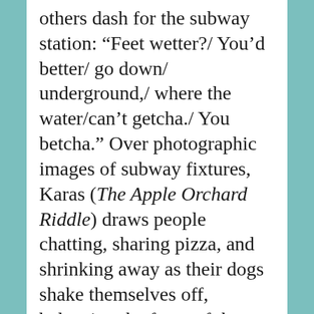others dash for the subway station: “Feet wetter?/ You’d better/ go down/ underground,/ where the water/can’t getcha./ You betcha.” Over photographic images of subway fixtures, Karas (The Apple Orchard Riddle) draws people chatting, sharing pizza, and shrinking away as their dogs shake themselves off, balancing the force of the storm with the warmth of city-dwellers sharing an unexpected break in their day. Bluemle’s story unfolds on a scale just right for